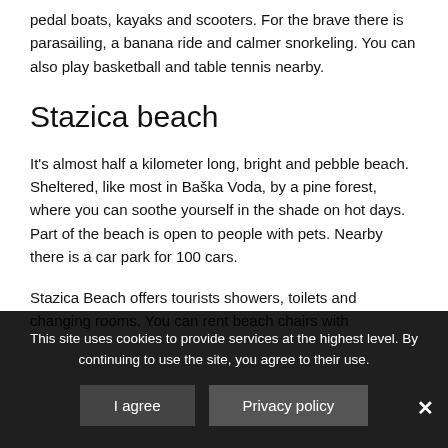pedal boats, kayaks and scooters. For the brave there is parasailing, a banana ride and calmer snorkeling. You can also play basketball and table tennis nearby.
Stazica beach
It's almost half a kilometer long, bright and pebble beach. Sheltered, like most in Baška Voda, by a pine forest, where you can soothe yourself in the shade on hot days. Part of the beach is open to people with pets. Nearby there is a car park for 100 cars.
Stazica Beach offers tourists showers, toilets and changing rooms. You can rent beach chairs with
This site uses cookies to provide services at the highest level. By continuing to use the site, you agree to their use.